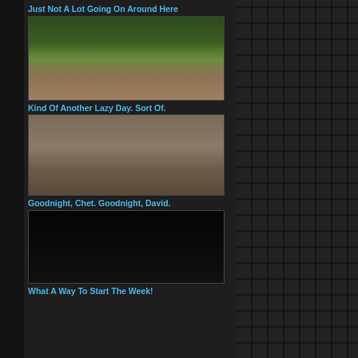Just Not A Lot Going On Around Here
[Figure (photo): Blonde woman posing outdoors in a forested area]
Kind Of Another Lazy Day. Sort Of.
[Figure (photo): Blonde woman posing near rocks and water outdoors]
Goodnight, Chet. Goodnight, David.
[Figure (photo): Star Trek starship (Enterprise) on black background]
What A Way To Start The Week!